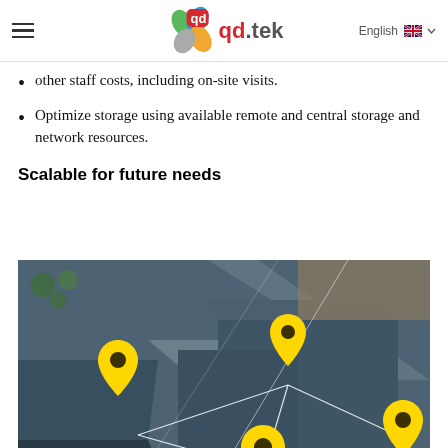qd.tek — English
other staff costs, including on-site visits.
Optimize storage using available remote and central storage and network resources.
Scalable for future needs
[Figure (photo): Aerial view of a city with buildings and streets, overlaid with yellow map location pins connected by white lines indicating network or coverage points.]